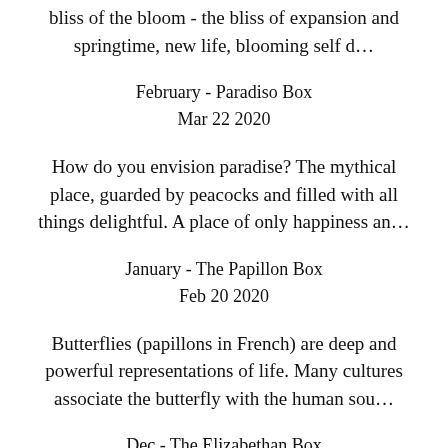bliss of the bloom - the bliss of expansion and springtime, new life, blooming self d…
February - Paradiso Box
Mar 22 2020
How do you envision paradise? The mythical place, guarded by peacocks and filled with all things delightful. A place of only happiness an…
January - The Papillon Box
Feb 20 2020
Butterflies (papillons in French) are deep and powerful representations of life. Many cultures associate the butterfly with the human sou…
Dec - The Elizabethan Box